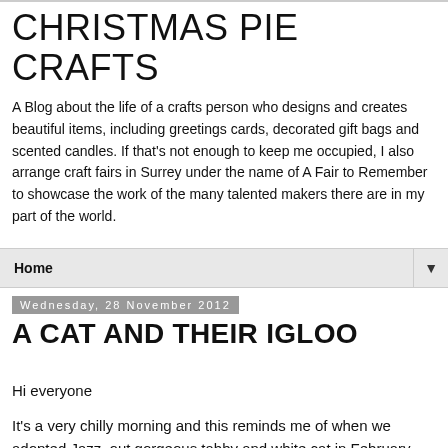CHRISTMAS PIE CRAFTS
A Blog about the life of a crafts person who designs and creates beautiful items, including greetings cards, decorated gift bags and scented candles. If that's not enough to keep me occupied, I also arrange craft fairs in Surrey under the name of A Fair to Remember to showcase the work of the many talented makers there are in my part of the world.
Home
Wednesday, 28 November 2012
A CAT AND THEIR IGLOO
Hi everyone
It's a very chilly morning and this reminds me of when we adopted Jazz, out gorgeous tabby and white cat in February 2009. When we saw Jazz we were told he was very shy and